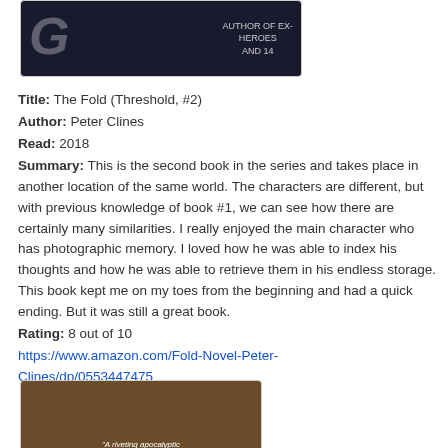[Figure (photo): Book cover image partially visible at top, dark background with large letter and text 'AUTHOR OF EX-HEROES AND 14']
Title: The Fold (Threshold, #2)
Author: Peter Clines
Read: 2018
Summary: This is the second book in the series and takes place in another location of the same world. The characters are different, but with previous knowledge of book #1, we can see how there are certainly many similarities. I really enjoyed the main character who has photographic memory. I loved how he was able to index his thoughts and how he was able to retrieve them in his endless storage. This book kept me on my toes from the beginning and had a quick ending. But it was still a great book.
Rating: 8 out of 10
https://www.amazon.com/Fold-Novel-Peter-Clines/dp/0553447475
[Figure (photo): Book cover image at bottom, brown/tan background with text 'A riveting apocalyptic...']